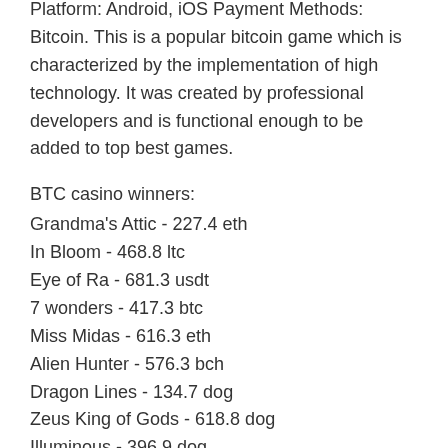Platform: Android, iOS Payment Methods: Bitcoin. This is a popular bitcoin game which is characterized by the implementation of high technology. It was created by professional developers and is functional enough to be added to top best games.
BTC casino winners:
Grandma's Attic - 227.4 eth
In Bloom - 468.8 ltc
Eye of Ra - 681.3 usdt
7 wonders - 417.3 btc
Miss Midas - 616.3 eth
Alien Hunter - 576.3 bch
Dragon Lines - 134.7 dog
Zeus King of Gods - 618.8 dog
Illuminous - 396.9 dog
Golden Flower of Life - 659.5 ltc
Ariana - 446.5 btc
Rome Warrior - 530.1 dog
Divine Ways - 486.3 dog
Dino Reels 81 - 109.4 btc